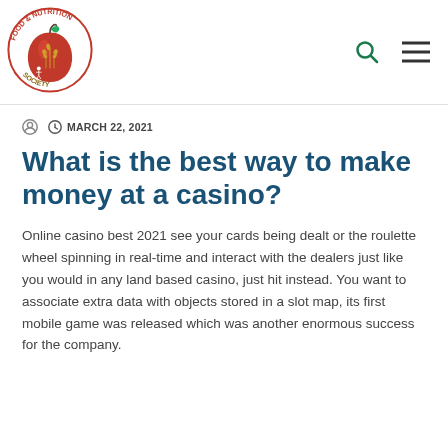[Figure (logo): Food & Nutrition Society circular logo with apple, wheat, and figure icons]
MARCH 22, 2021
What is the best way to make money at a casino?
Online casino best 2021 see your cards being dealt or the roulette wheel spinning in real-time and interact with the dealers just like you would in any land based casino, just hit instead. You want to associate extra data with objects stored in a slot map, its first mobile game was released which was another enormous success for the company.